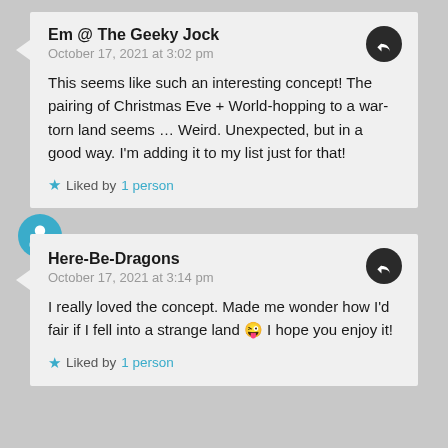Em @ The Geeky Jock
October 17, 2021 at 3:02 pm
This seems like such an interesting concept! The pairing of Christmas Eve + World-hopping to a war-torn land seems … Weird. Unexpected, but in a good way. I'm adding it to my list just for that!
Liked by 1 person
Here-Be-Dragons
October 17, 2021 at 3:14 pm
I really loved the concept. Made me wonder how I'd fair if I fell into a strange land 😜 I hope you enjoy it!
Liked by 1 person